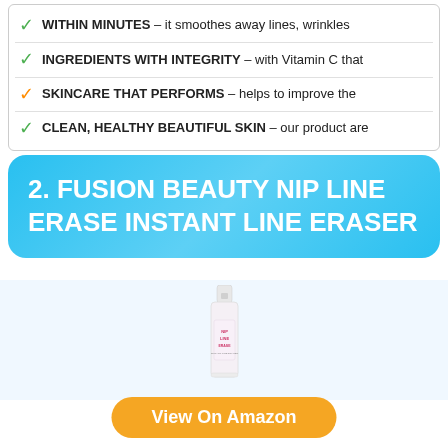✓ WITHIN MINUTES – it smoothes away lines, wrinkles
✓ INGREDIENTS WITH INTEGRITY – with Vitamin C that
✓ SKINCARE THAT PERFORMS – helps to improve the
✓ CLEAN, HEALTHY BEAUTIFUL SKIN – our product are
2. FUSION BEAUTY NIP LINE ERASE INSTANT LINE ERASER
[Figure (photo): A small white cosmetic bottle/serum tube labeled NIP LINE ERASE]
View On Amazon